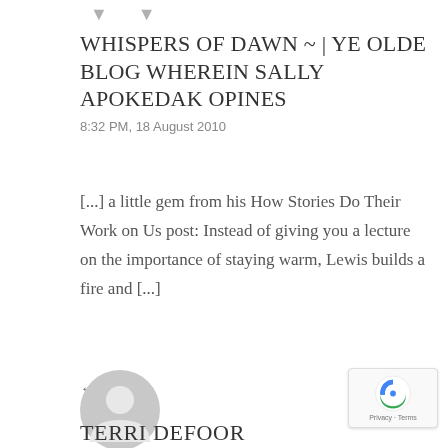WHISPERS OF DAWN ~ | YE OLDE BLOG WHEREIN SALLY APOKEDAK OPINES
8:32 PM, 18 August 2010
[...] a little gem from his How Stories Do Their Work on Us post: Instead of giving you a lecture on the importance of staying warm, Lewis builds a fire and [...]
← Reply
[Figure (illustration): Gray avatar/profile placeholder circle icon]
TERRI DEFOOR